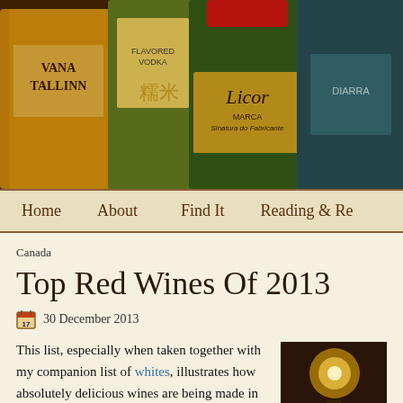[Figure (photo): Photograph of multiple liquor bottles including Vana Tallinn, a flavored vodka bottle, Licor with red cap, and a blue bottle arranged together on a wooden surface]
Home   About   Find It   Reading & Re
Canada
Top Red Wines Of 2013
30 December 2013
This list, especially when taken together with my companion list of whites, illustrates how absolutely delicious wines are being made in all sorts of unexpected places all over the globe. Nowadays, there is simply no reason to confine your drinking to wines from two or three classic regions.
[Figure (photo): Small thumbnail photo showing a dark bar or restaurant scene with warm lighting]
You'll note that many wines from France made the list...